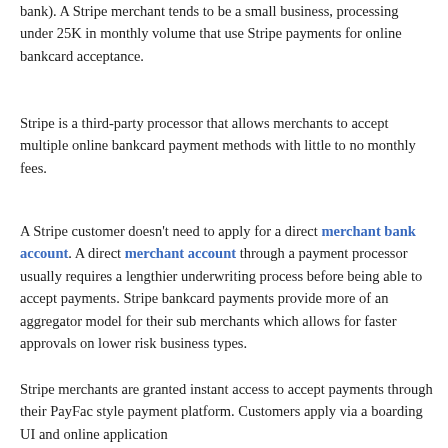bank). A Stripe merchant tends to be a small business, processing under 25K in monthly volume that use Stripe payments for online bankcard acceptance.
Stripe is a third-party processor that allows merchants to accept multiple online bankcard payment methods with little to no monthly fees.
A Stripe customer doesn't need to apply for a direct merchant bank account. A direct merchant account through a payment processor usually requires a lengthier underwriting process before being able to accept payments. Stripe bankcard payments provide more of an aggregator model for their sub merchants which allows for faster approvals on lower risk business types.
Stripe merchants are granted instant access to accept payments through their PayFac style payment platform. Customers apply via a boarding UI and online application